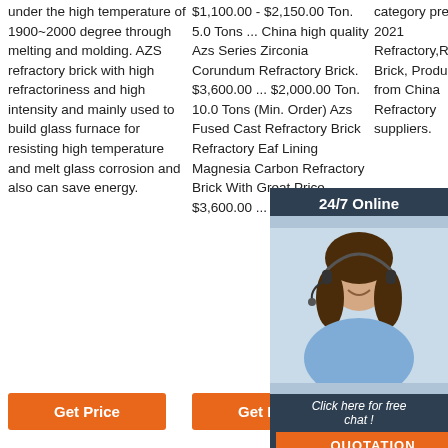under the high temperature of 1900~2000 degree through melting and molding. AZS refractory brick with high refractoriness and high intensity and mainly used to build glass furnace for resisting high temperature and melt glass corrosion and also can save energy.
$1,100.00 - $2,150.00 Ton. 5.0 Tons ... China high quality Azs Series Zirconia Corundum Refractory Brick. $3,600.00 ... $2,000.00 Ton. 10.0 Tons (Min. Order) Azs Fused Cast Refractory Brick Refractory Eaf Lining Magnesia Carbon Refractory Brick With Great Price. $3,600.00 ...
category presents 2021 Refractory,Refractory Brick, Products from China Refractory suppliers.
[Figure (infographic): 24/7 Online chat widget with a woman wearing a headset, dark background, with 'Click here for free chat!' text and an orange QUOTATION button]
[Figure (logo): TOP icon with orange dots arranged in triangle shape and orange TOP text]
Get Price
Get Price